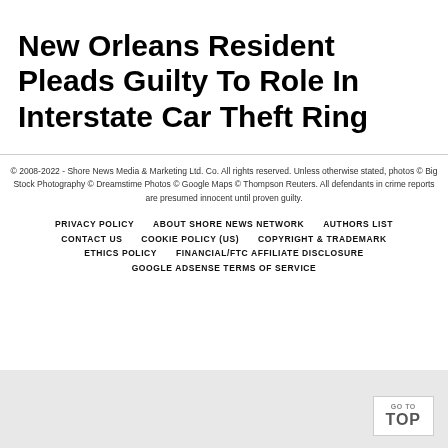New Orleans Resident Pleads Guilty To Role In Interstate Car Theft Ring
© 2008-2022 - Shore News Media & Marketing Ltd. Co. All rights reserved. Unless otherwise stated, photos © Big Stock Photography © Dreamstime Photos © Google Maps © Thompson Reuters. All defendants in crime reports are presumed innocent until proven guilty.
PRIVACY POLICY   ABOUT SHORE NEWS NETWORK   AUTHORS LIST   CONTACT US   COOKIE POLICY (US)   COPYRIGHT & TRADEMARK   ETHICS POLICY   FINANCIAL/FTC AFFILIATE DISCLOSURE   GOOGLE ADSENSE TERMS OF SERVICE